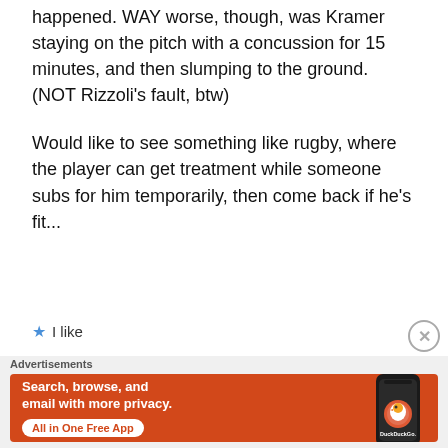happened. WAY worse, though, was Kramer staying on the pitch with a concussion for 15 minutes, and then slumping to the ground. (NOT Rizzoli's fault, btw)
Would like to see something like rugby, where the player can get treatment while someone subs for him temporarily, then come back if he's fit...
★ I like
Advertisements
[Figure (infographic): DuckDuckGo advertisement banner with orange background showing 'Search, browse, and email with more privacy. All in One Free App' with a smartphone showing the DuckDuckGo app and logo.]